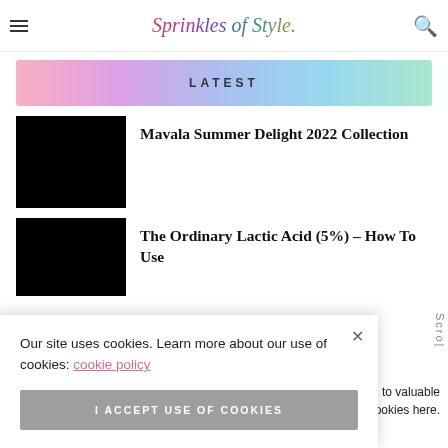Sprinkles of Style
LATEST
Mavala Summer Delight 2022 Collection
The Ordinary Lactic Acid (5%) – How To Use
Our site uses cookies. Learn more about our use of cookies: cookie policy
I ACCEPT USE OF COOKIES